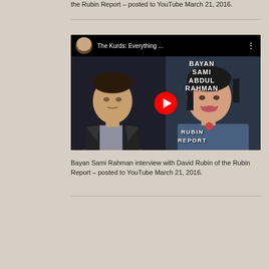the Rubin Report – posted to YouTube March 21, 2016.
[Figure (screenshot): YouTube video thumbnail for 'The Kurds: Everything ...' showing a man on the left and a woman on the right with text overlay reading BAYAN SAMI ABDUL RAHMAN RUBIN REPORT, with a YouTube play button in the center. A small circular avatar of a man appears in the top-left corner of the video header.]
Bayan Sami Rahman interview with David Rubin of the Rubin Report – posted to YouTube March 21, 2016.